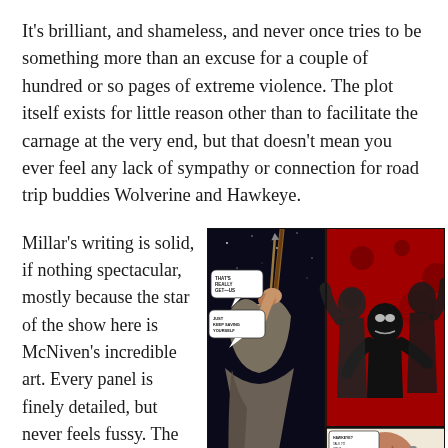It's brilliant, and shameless, and never once tries to be something more than an excuse for a couple of hundred or so pages of extreme violence. The plot itself exists for little reason other than to facilitate the carnage at the very end, but that doesn't mean you ever feel any lack of sympathy or connection for road trip buddies Wolverine and Hawkeye.
Millar's writing is solid, if nothing spectacular, mostly because the star of the show here is McNiven's incredible art. Every panel is finely detailed, but never feels fussy. The dirt and grime of a future without superheroes mixes
[Figure (illustration): Two comic book panels side by side. Left panel shows an older bearded man (Wolverine) pulling back a bow and arrow against a starry black background, with speech bubbles. Right panel shows dark red background with silhouetted figures fighting, and a bottom inset with a scarred face and dialogue.]